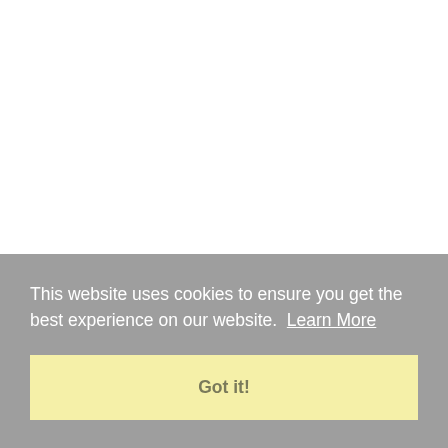This website uses cookies to ensure you get the best experience on our website. Learn More
Got it!